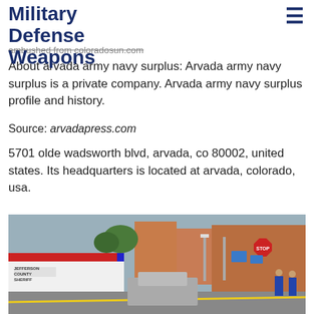Military Defense Weapons
ambushed from coloradosun.com
About arvada army navy surplus: Arvada army navy surplus is a private company. Arvada army navy surplus profile and history.
Source: arvadapress.com
5701 olde wadsworth blvd, arvada, co 80002, united states. Its headquarters is located at arvada, colorado, usa.
[Figure (photo): Street scene with Jefferson County Sheriff and Bomb Squad vehicles, police officers, crime scene tape, stop sign, street lights, brick building, urban downtown area]